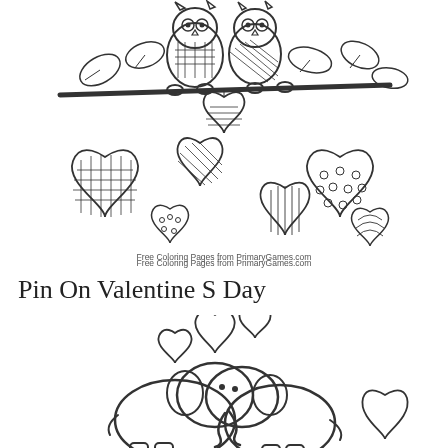[Figure (illustration): Coloring page showing two owls sitting on a branch surrounded by decorative hearts with various patterns (crosshatch, stripes, dots, circles, arcs). Hearts hang from and float around the branch. Leaves are also visible. Text at bottom reads 'Free Coloring Pages from PrimaryGames.com'.]
Free Coloring Pages from PrimaryGames.com
Pin On Valentine S Day
[Figure (illustration): Coloring page showing two elephants touching trunks with three floating hearts above them and one heart to the right side. The elephants appear to be nuzzling each other in a Valentine's Day scene.]